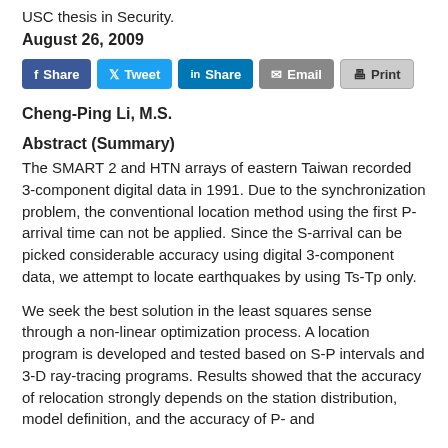USC thesis in Security.
August 26, 2009
[Figure (other): Social sharing buttons: Facebook Share, Twitter Tweet, LinkedIn Share, Email, Print]
Cheng-Ping Li, M.S.
Abstract (Summary)
The SMART 2 and HTN arrays of eastern Taiwan recorded 3-component digital data in 1991. Due to the synchronization problem, the conventional location method using the first P-arrival time can not be applied. Since the S-arrival can be picked considerable accuracy using digital 3-component data, we attempt to locate earthquakes by using Ts-Tp only.
We seek the best solution in the least squares sense through a non-linear optimization process. A location program is developed and tested based on S-P intervals and 3-D ray-tracing programs. Results showed that the accuracy of relocation strongly depends on the station distribution, model definition, and the accuracy of P- and